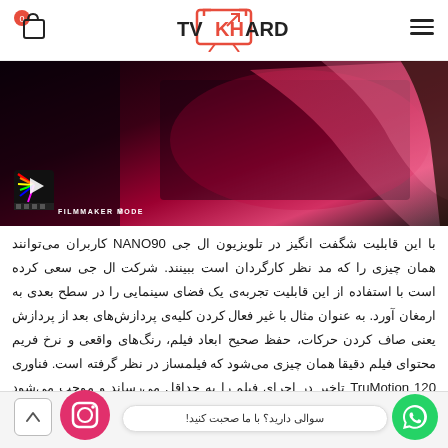TVKHARD logo with cart and menu icons
[Figure (photo): LG NANO90 TV with Filmmaker Mode badge showing colorful display]
با این قابلیت شگفت انگیز در تلویزیون ال جی NANO90 کاربران می‌توانند همان چیزی را که مد نظر کارگردان است ببینند. شرکت ال جی سعی کرده است با استفاده از این قابلیت تجربه‌ی یک فضای سینمایی را در سطح بعدی به ارمغان آورد. به عنوان مثال با غیر فعال کردن کلیه‌ی پردازش‌های بعد از پردازش یعنی صاف کردن حرکات، حفظ صحیح ابعاد فیلم، رنگ‌های واقعی و نرخ فریم محتوای فیلم دقیقا همان چیزی می‌شود که فیلمساز در نظر گرفته است. فناوری TruMotion 120 تاخیر در اجرای فیلم را به حداقل می‌رساند و موجب می‌شود که صحنه‌های فیلم به طور مداوم رفرش شده، فیلم
سوالی دارید؟ با ما صحبت کنید!